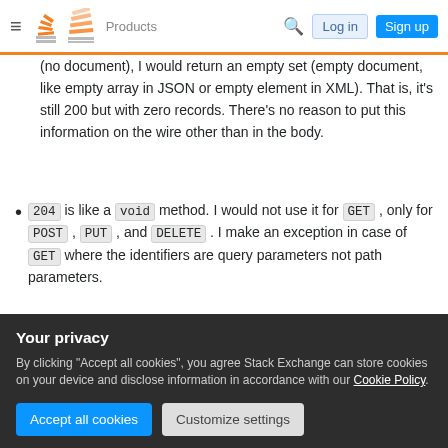Stack Overflow navigation: hamburger menu, logo, Products, search, Log in, Sign up
(no document), I would return an empty set (empty document, like empty array in JSON or empty element in XML). That is, it's still 200 but with zero records. There's no reason to put this information on the wire other than in the body.
204 is like a void method. I would not use it for GET , only for POST , PUT , and DELETE . I make an exception in case of GET where the identifiers are query parameters not path parameters.
Not finding the record is like
Your privacy — By clicking "Accept all cookies", you agree Stack Exchange can store cookies on your device and disclose information in accordance with our Cookie Policy. [Accept all cookies] [Customize settings]
an additional branch in the code that could be